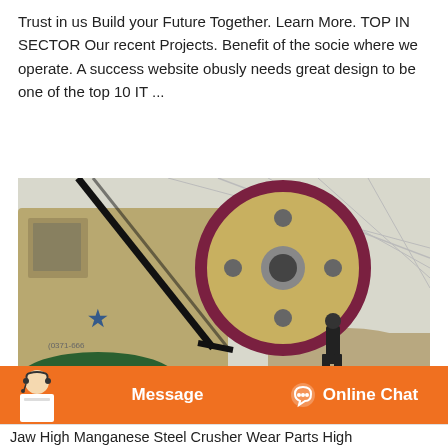Trust in us Build your Future Together. Learn More. TOP IN SECTOR Our recent Projects. Benefit of the socie where we operate. A success website obusly needs great design to be one of the top 10 IT ...
[Figure (photo): Industrial jaw crusher machine with large flywheel and belt drive inside a factory or mining facility. A worker is standing near the base of the machine. The machine has a star logo and partial text '(0371-666'. A 'TOP' button overlay is visible in the upper right corner of the image.]
Message   Online Chat
Jaw High Manganese Steel Crusher Wear Parts High